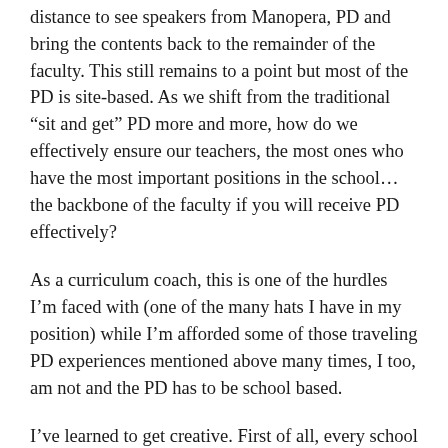distance to see speakers from Manopera, PD and bring the contents back to the remainder of the faculty. This still remains to a point but most of the PD is site-based. As we shift from the traditional “sit and get” PD more and more, how do we effectively ensure our teachers, the most ones who have the most important positions in the school…the backbone of the faculty if you will receive PD effectively?
As a curriculum coach, this is one of the hurdles I’m faced with (one of the many hats I have in my position) while I’m afforded some of those traveling PD experiences mentioned above many times, I too, am not and the PD has to be school based.
I’ve learned to get creative. First of all, every school has a lot of experts in certain areas. Think about it. Coming from the elementary lens, ever school has a few teachers who really and truly excel in guided reading instruction, or introduction of CCSS multiplication methods, always on the cutting edge of the newest, best practices…Daily 5…